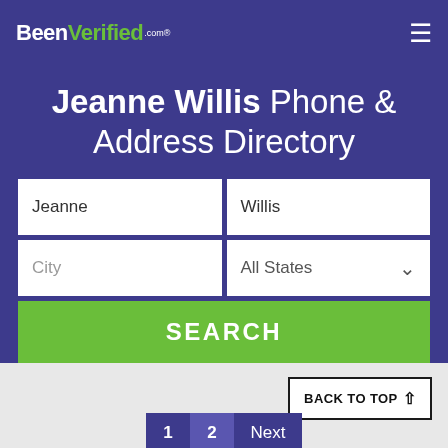BeenVerified.com
Jeanne Willis Phone & Address Directory
Jeanne | Willis
City | All States
SEARCH
BACK TO TOP ↑
1  2  Next